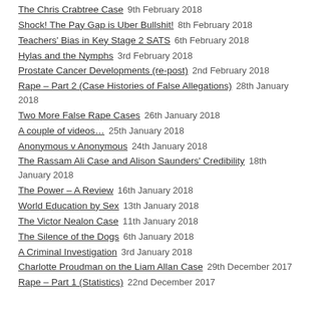The Chris Crabtree Case  9th February 2018
Shock! The Pay Gap is Uber Bullshit!  8th February 2018
Teachers' Bias in Key Stage 2 SATS  6th February 2018
Hylas and the Nymphs  3rd February 2018
Prostate Cancer Developments (re-post)  2nd February 2018
Rape – Part 2 (Case Histories of False Allegations)  28th January 2018
Two More False Rape Cases  26th January 2018
A couple of videos…  25th January 2018
Anonymous v Anonymous  24th January 2018
The Rassam Ali Case and Alison Saunders' Credibility  18th January 2018
The Power – A Review  16th January 2018
World Education by Sex  13th January 2018
The Victor Nealon Case  11th January 2018
The Silence of the Dogs  6th January 2018
A Criminal Investigation  3rd January 2018
Charlotte Proudman on the Liam Allan Case  29th December 2017
Rape – Part 1 (Statistics)  22nd December 2017